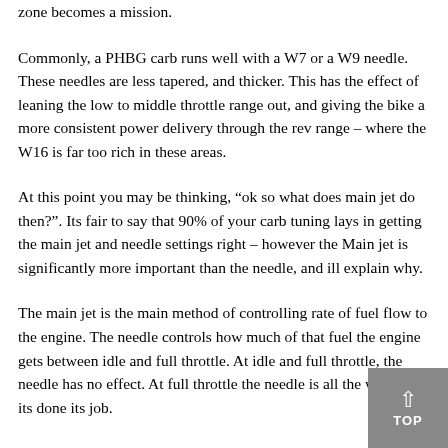zone becomes a mission.
Commonly, a PHBG carb runs well with a W7 or a W9 needle. These needles are less tapered, and thicker. This has the effect of leaning the low to middle throttle range out, and giving the bike a more consistent power delivery through the rev range – where the W16 is far too rich in these areas.
At this point you may be thinking, "ok so what does main jet do then?". Its fair to say that 90% of your carb tuning lays in getting the main jet and needle settings right – however the Main jet is significantly more important than the needle, and ill explain why.
The main jet is the main method of controlling rate of fuel flow to the engine. The needle controls how much of that fuel the engine gets between idle and full throttle. At idle and full throttle, the needle has no effect. At full throttle the needle is all the way out, its done its job.
For this reason, its important to always centre tuning around the main jet. Get the main jet right, then knit pick the rest of the fuel